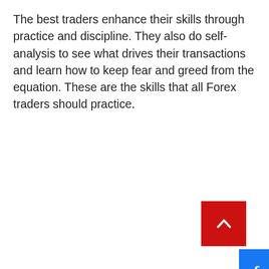The best traders enhance their skills through practice and discipline. They also do self-analysis to see what drives their transactions and learn how to keep fear and greed from the equation. These are the skills that all Forex traders should practice.
[Figure (other): Facebook share button - blue rectangle with white 'f' logo, partially visible on right edge]
[Figure (other): Back to top button - red square with white upward-pointing chevron arrow]